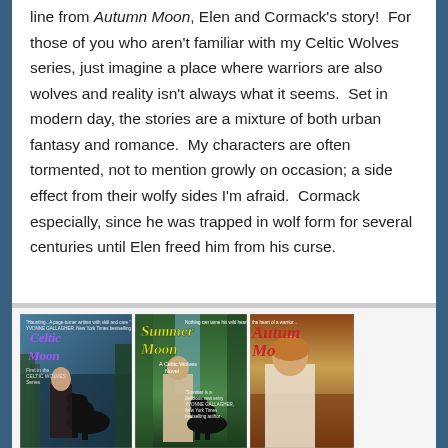line from Autumn Moon, Elen and Cormack's story!  For those of you who aren't familiar with my Celtic Wolves series, just imagine a place where warriors are also wolves and reality isn't always what it seems.  Set in modern day, the stories are a mixture of both urban fantasy and romance.  My characters are often tormented, not to mention growly on occasion; a side effect from their wolfy sides I'm afraid.  Cormack especially, since he was trapped in wolf form for several centuries until Elen freed him from his curse.
[Figure (photo): Three book covers side by side: Celtic Moon, Summer Moon (A Celtic Wolves Novel), and Autumn Moon (partially visible). Each features a woman on the cover with forest/nature backgrounds.]